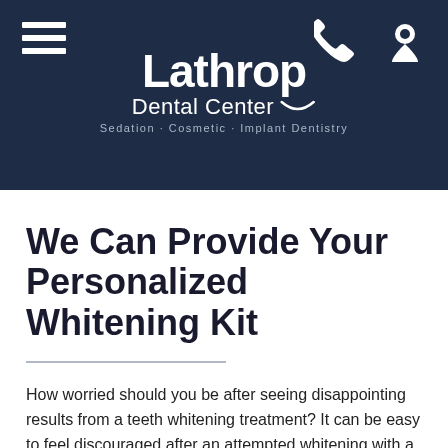[Figure (logo): Lathrop Dental Center logo with hamburger menu icon, phone icon, and location pin icon on dark navy background. Text reads: Lathrop Dental Center, Sedation · Cosmetic · Implant Dentistry]
We Can Provide Your Personalized Whitening Kit
How worried should you be after seeing disappointing results from a teeth whitening treatment? It can be easy to feel discouraged after an attempted whitening with a store bought treatment. To see more exciting improvements